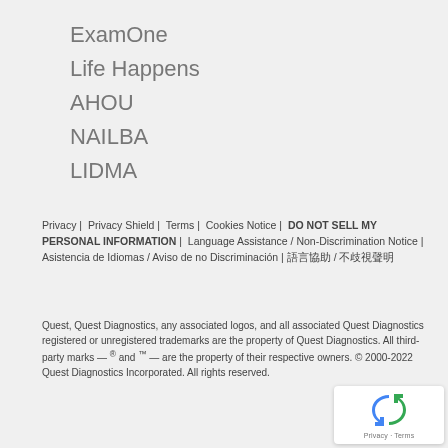ExamOne
Life Happens
AHOU
NAILBA
LIDMA
Privacy | Privacy Shield | Terms | Cookies Notice | DO NOT SELL MY PERSONAL INFORMATION | Language Assistance / Non-Discrimination Notice | Asistencia de Idiomas / Aviso de no Discriminación | 語言協助 / 不歧視聲明
Quest, Quest Diagnostics, any associated logos, and all associated Quest Diagnostics registered or unregistered trademarks are the property of Quest Diagnostics. All third-party marks — ® and ™ — are the property of their respective owners. © 2000-2022 Quest Diagnostics Incorporated. All rights reserved.
[Figure (logo): reCAPTCHA badge with recycling-arrow icon and Privacy · Terms text]